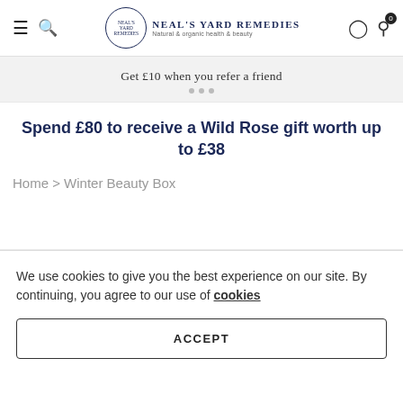Neal's Yard Remedies - Natural & organic health & beauty
Get £10 when you refer a friend
Spend £80 to receive a Wild Rose gift worth up to £38
Home > Winter Beauty Box
We use cookies to give you the best experience on our site. By continuing, you agree to our use of cookies
ACCEPT